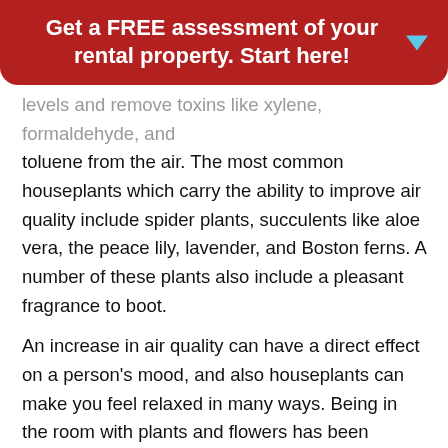Get a FREE assessment of your rental property. Start here!
levels and remove toxins like xylene, formaldehyde, and toluene from the air. The most common houseplants which carry the ability to improve air quality include spider plants, succulents like aloe vera, the peace lily, lavender, and Boston ferns. A number of these plants also include a pleasant fragrance to boot.
An increase in air quality can have a direct effect on a person's mood, and also houseplants can make you feel relaxed in many ways. Being in the room with plants and flowers has been shown to reduce stress, improve concentration, and even soothe minor aches and pains. Despite the fact that specialists do not absolutely know why plants bear this impact, the prevailing theory suggests that humans have a need to connect with nature. When we can, the outcome is our added happiness.